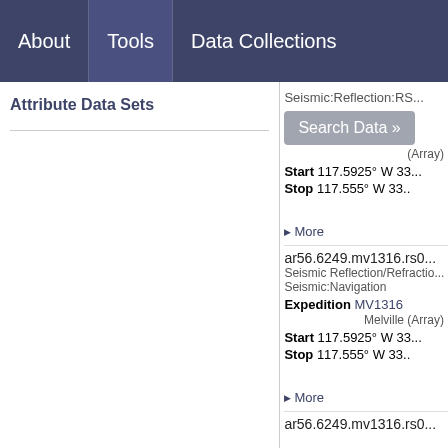About | Tools | Data Collections
Search Data »
(Array)
Start 117.5925° W 33...
Stop 117.555° W 33...
▶ More
ar56.6249.mv1316.rs0...
Seismic Reflection/Refraction
Seismic:Navigation
Expedition MV1316
Melville (Array)
Start 117.5925° W 33...
Stop 117.555° W 33...
▶ More
ar56.6249.mv1316.rs0...